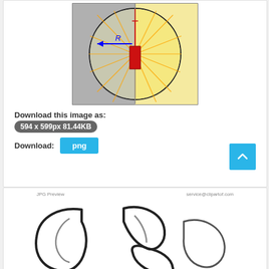[Figure (schematic): Physics diagram showing a circular region with a vertical divider (half grey, half yellow), a red rectangular element in the center with a red line/wire going up, orange starburst/ray lines radiating outward, a blue arrow labeled R pointing left from center to the edge of the circle.]
Download this image as:
594 x 599px 81.44KB
Download:
[Figure (screenshot): JPG Preview thumbnail showing outline/contour shapes of lungs or similar organic curved shapes in black and grey on white background, with watermarks 'JPG Preview' and 'service@clipartof.com']